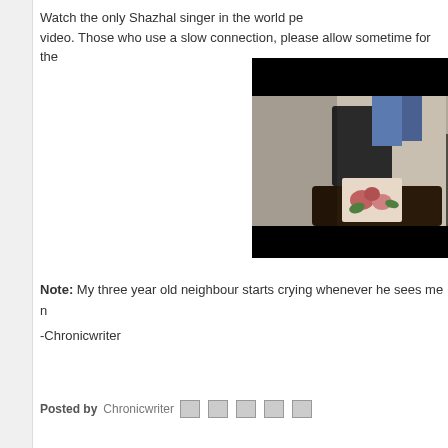Watch the only Shazhal singer in the world per... video. Those who use a slow connection, please allow sometime for the...
[Figure (screenshot): Embedded video thumbnail showing a dark room scene with furniture and clothing, overlaid with a play button on the right side.]
Note: My three year old neighbour starts crying whenever he sees me n...
-Chronicwriter
Posted by... [social share icons]